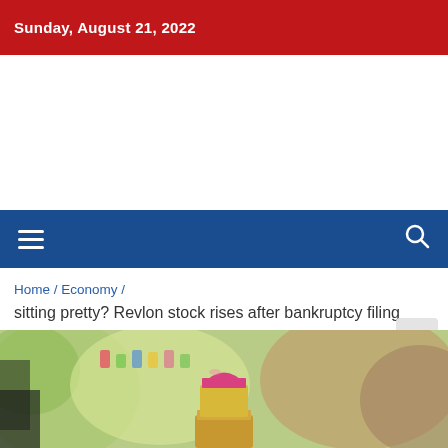Sunday, August 21, 2022
[Figure (other): Advertisement / blank white space area]
[Figure (other): Navigation bar with hamburger menu icon and search icon on dark blue background]
Home / Economy /
sitting pretty? Revlon stock rises after bankruptcy filing
[Figure (photo): Close-up photo of a pink lipstick on a gold base with blurred colorful store background]